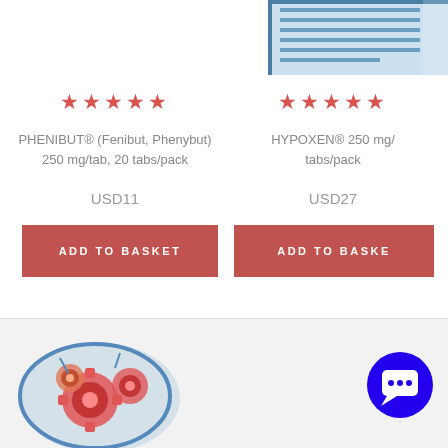[Figure (photo): Product image partially visible at top right - appears to be a medication/book image with blue border]
★★★★★ (5 stars rating for PHENIBUT)
PHENIBUT® (Fenibut, Phenybut) 250 mg/tab, 20 tabs/pack
USD11
ADD TO BASKET
★★★★★ (5 stars rating for HYPOXEN)
HYPOXEN® 250 mg/ tabs/pack
USD27
ADD TO BASKET
[Figure (illustration): Brain illustration with gears/cogs inside, colorful mechanical brain graphic in bottom left]
[Figure (other): Blue circular chat/support button with speech bubble icon in bottom right]